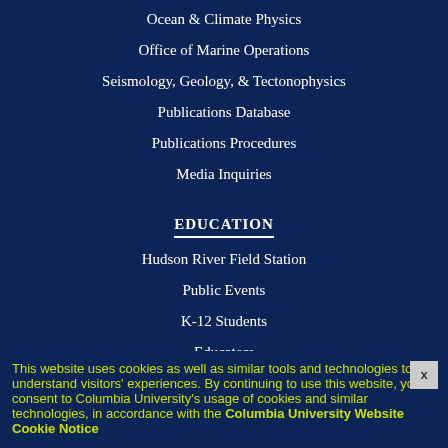Ocean & Climate Physics
Office of Marine Operations
Seismology, Geology, & Tectonophysics
Publications Database
Publications Procedures
Media Inquiries
EDUCATION
Hudson River Field Station
Public Events
K-12 Students
Educators
Undergraduate & Graduate Students
Academic Calendar
LDEO Alumni
Diversity & Inclusion
This website uses cookies as well as similar tools and technologies to understand visitors' experiences. By continuing to use this website, you consent to Columbia University's usage of cookies and similar technologies, in accordance with the Columbia University Website Cookie Notice